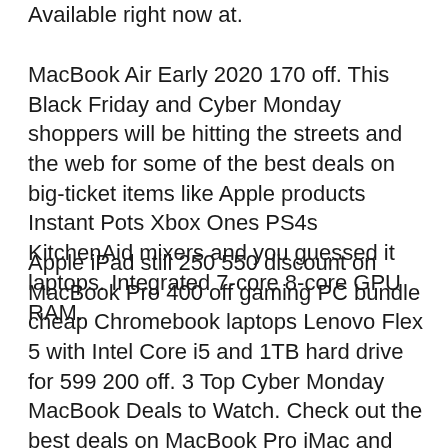Available right now at.
MacBook Air Early 2020 170 off. This Black Friday and Cyber Monday shoppers will be hitting the streets and the web for some of the best deals on big-ticket items like Apple products Instant Pots Xbox Ones PS4s KitchenAid mixers and you guessed it laptops. Integrated 7-core 8-core GPU RAM.
Apple iPad still 250 550 discount on MacBook Pro 400 off gaming PC bundle cheap Chromebook laptops Lenovo Flex 5 with Intel Core i5 and 1TB hard drive for 599 200 off. 3 Top Cyber Monday MacBook Deals to Watch. Check out the best deals on MacBook Pro iMac and MacBook Air for Cyber Monday 2018 here.